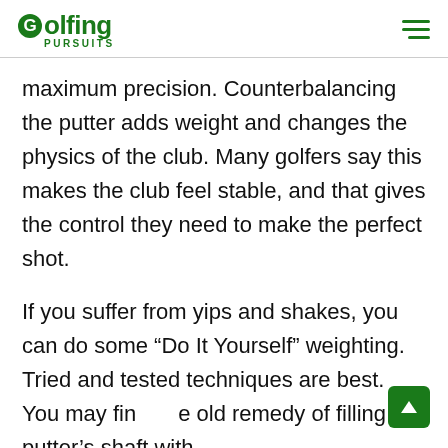Golfing PURSUITS
maximum precision. Counterbalancing the putter adds weight and changes the physics of the club. Many golfers say this makes the club feel stable, and that gives the control they need to make the perfect shot.
If you suffer from yips and shakes, you can do some “Do It Yourself” weighting. Tried and tested techniques are best. You may find the old remedy of filling the putter’s shaft with